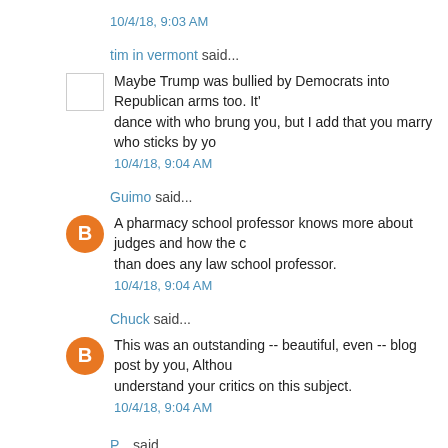10/4/18, 9:03 AM
tim in vermont said...
Maybe Trump was bullied by Democrats into Republican arms too. It's dance with who brung you, but I add that you marry who sticks by yo
10/4/18, 9:04 AM
Guimo said...
A pharmacy school professor knows more about judges and how the c than does any law school professor.
10/4/18, 9:04 AM
Chuck said...
This was an outstanding -- beautiful, even -- blog post by you, Althou understand your critics on this subject.
10/4/18, 9:04 AM